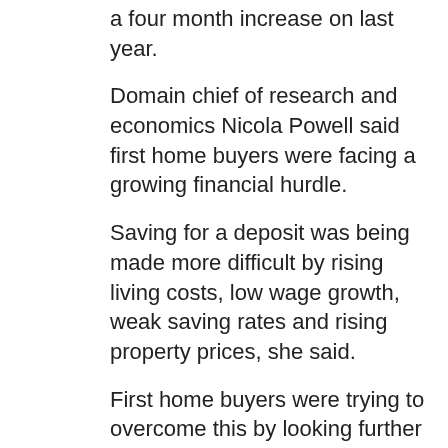a four month increase on last year.
Domain chief of research and economics Nicola Powell said first home buyers were facing a growing financial hurdle.
Saving for a deposit was being made more difficult by rising living costs, low wage growth, weak saving rates and rising property prices, she said.
First home buyers were trying to overcome this by looking further afield.
More couples were using remote working to live further from their employer, according to Domain.
Ms Powell encouraged first home buyers to consider government support such as the First Home Loan Deposit Scheme and the First Home Super Saver Scheme.
The report methodology was based on Bureau of Statistics data for properties and incomes of people aged 25 to 34.